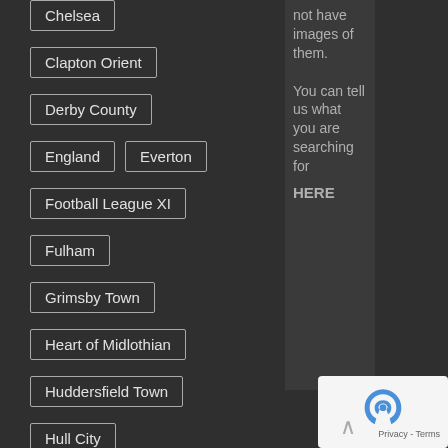Chelsea
Clapton Orient
Derby County
England  Everton
Football League XI
Fulham
Grimsby Town
Heart of Midlothian
Huddersfield Town
Hull City
Leicester City
Liverpool
Manchester City
not have images of them. You can tell us what you are searching for HERE